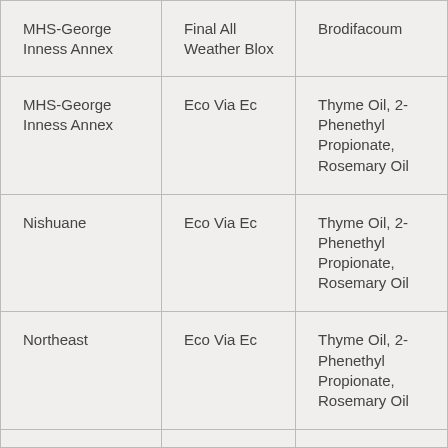| MHS-George Inness Annex | Final All Weather Blox | Brodifacoum |
| MHS-George Inness Annex | Eco Via Ec | Thyme Oil, 2-Phenethyl Propionate, Rosemary Oil |
| Nishuane | Eco Via Ec | Thyme Oil, 2-Phenethyl Propionate, Rosemary Oil |
| Northeast | Eco Via Ec | Thyme Oil, 2-Phenethyl Propionate, Rosemary Oil |
|  |  |  |